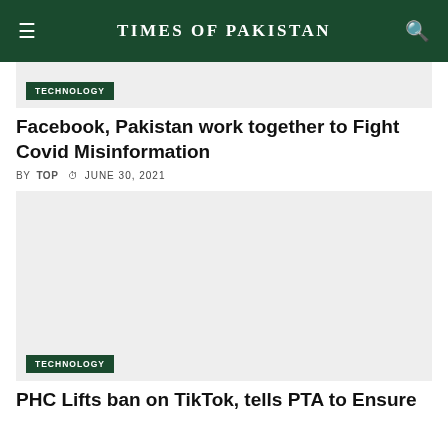TIMES OF PAKISTAN
[Figure (photo): Article image placeholder for Facebook Pakistan article (light grey background)]
TECHNOLOGY
Facebook, Pakistan work together to Fight Covid Misinformation
BY TOP  JUNE 30, 2021
[Figure (photo): Article image placeholder for PHC TikTok article (light grey background)]
TECHNOLOGY
PHC Lifts ban on TikTok, tells PTA to Ensure